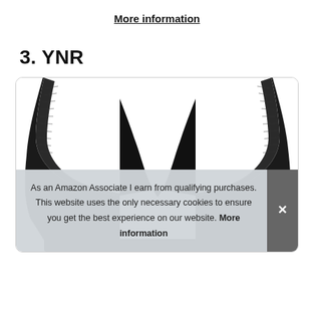More information
3. YNR
[Figure (photo): Photo of a black posture corrector brace shown from the back, with shoulder straps in a curved W-shape design against a white background, inside a rounded-corner bordered box.]
As an Amazon Associate I earn from qualifying purchases. This website uses the only necessary cookies to ensure you get the best experience on our website. More information